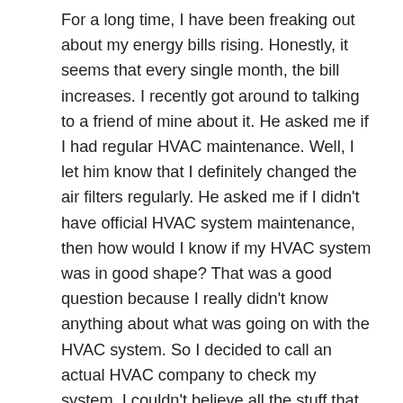For a long time, I have been freaking out about my energy bills rising. Honestly, it seems that every single month, the bill increases. I recently got around to talking to a friend of mine about it. He asked me if I had regular HVAC maintenance. Well, I let him know that I definitely changed the air filters regularly. He asked me if I didn't have official HVAC system maintenance, then how would I know if my HVAC system was in good shape? That was a good question because I really didn't know anything about what was going on with the HVAC system. So I decided to call an actual HVAC company to check my system. I couldn't believe all the stuff that was going wrong with my system. The inner workings of the equipment was filthy and causing complications. There were a bunch of parts that needed to be replaced including the blower motor. Also they discovered a coolant leak and took care of that. When everything was taken care of, I let my friend know that my HVAC system